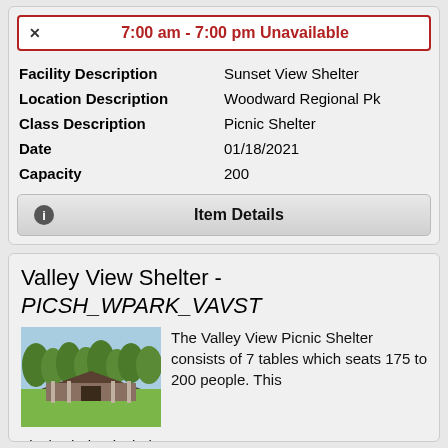7:00 am - 7:00 pm Unavailable
| Facility Description | Sunset View Shelter |
| Location Description | Woodward Regional Pk |
| Class Description | Picnic Shelter |
| Date | 01/18/2021 |
| Capacity | 200 |
Item Details
Valley View Shelter - PICSH_WPARK_VAVST
[Figure (photo): Photo of Valley View Picnic Shelter building surrounded by trees and green lawn]
The Valley View Picnic Shelter consists of 7 tables which seats 175 to 200 people. This picnic shelter includes BBQ's, restrooms,